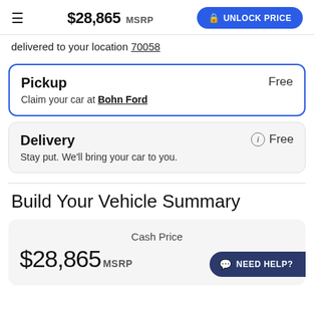$28,865 MSRP | UNLOCK PRICE
delivered to your location 70058
Pickup
Claim your car at Bohn Ford
Free
Delivery
Stay put. We'll bring your car to you.
Free
Build Your Vehicle Summary
Cash Price
$28,865 MSRP